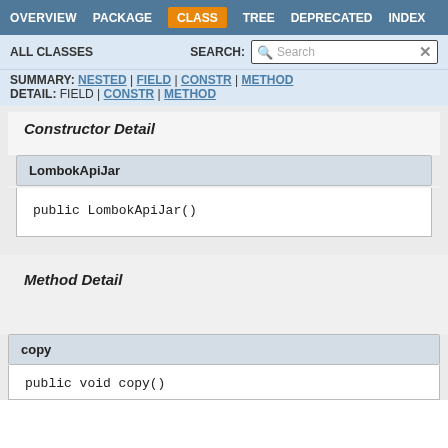OVERVIEW | PACKAGE | CLASS | TREE | DEPRECATED | INDEX
ALL CLASSES   SEARCH:
SUMMARY: NESTED | FIELD | CONSTR | METHOD
DETAIL: FIELD | CONSTR | METHOD
Constructor Detail
LombokApiJar
Method Detail
copy